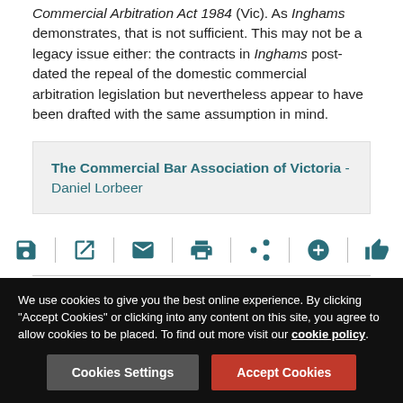Commercial Arbitration Act 1984 (Vic). As Inghams demonstrates, that is not sufficient. This may not be a legacy issue either: the contracts in Inghams post-dated the repeal of the domestic commercial arbitration legislation but nevertheless appear to have been drafted with the same assumption in mind.
The Commercial Bar Association of Victoria - Daniel Lorbeer
[Figure (infographic): Icon toolbar with save, external link, email, print, share, add, and thumbs-up icons separated by vertical dividers]
Filed under
Cookie banner: We use cookies to give you the best online experience. By clicking "Accept Cookies" or clicking into any content on this site, you agree to allow cookies to be placed. To find out more visit our cookie policy. Buttons: Cookies Settings, Accept Cookies